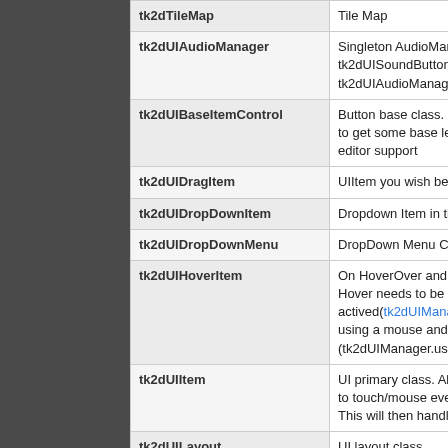| Class | Description |
| --- | --- |
| tk2dTileMap | Tile Map |
| tk2dUIAudioManager | Singleton AudioMan... tk2dUISoundButton tk2dUIAudioManage... |
| tk2dUIBaseItemControl | Button base class. B... to get some base le... editor support |
| tk2dUIDragItem | UIItem you wish be... |
| tk2dUIDropDownItem | Dropdown Item in th... |
| tk2dUIDropDownMenu | DropDown Menu Co... |
| tk2dUIHoverItem | On HoverOver and H... Hover needs to be e... actived(tk2dUIMana... using a mouse and r... (tk2dUIManager.use... |
| tk2dUIItem | UI primary class. All... to touch/mouse eve... This will then handle... |
| tk2dUILayout | UI layout class |
| tk2dUIManager | UI logic. Manages a... events passing and ... any tk2dUIItem to w... tk2dUIManager in t... |